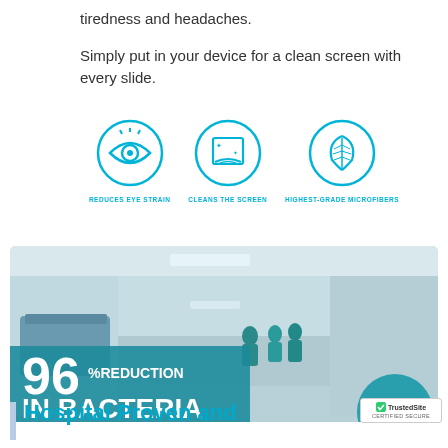tiredness and headaches.
Simply put in your device for a clean screen with every slide.
[Figure (infographic): Three circular teal icons: eye (REDUCES EYE STRAIN), hand cleaning screen (CLEANS THE SCREEN), feather (HIGHEST-GRADE MICROFIBERS)]
[Figure (photo): Hospital hallway with medical staff in teal scrubs. Overlay text reads: 96% REDUCTION IN BACTERIA. Teal circle with medical bag icon in bottom right.]
Hospital Proven and
[Figure (logo): TrustedSite CERTIFIED SECURE badge]